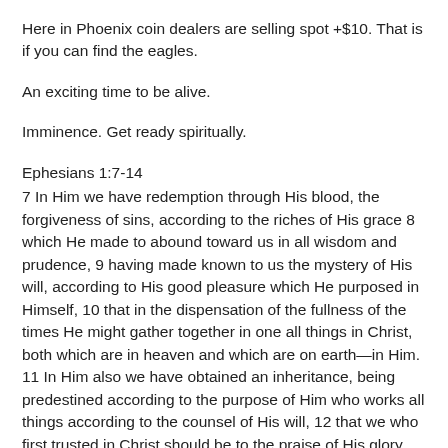Here in Phoenix coin dealers are selling spot +$10. That is if you can find the eagles.
An exciting time to be alive.
Imminence. Get ready spiritually.
Ephesians 1:7-14
7 In Him we have redemption through His blood, the forgiveness of sins, according to the riches of His grace 8 which He made to abound toward us in all wisdom and prudence, 9 having made known to us the mystery of His will, according to His good pleasure which He purposed in Himself, 10 that in the dispensation of the fullness of the times He might gather together in one all things in Christ, both which are in heaven and which are on earth—in Him. 11 In Him also we have obtained an inheritance, being predestined according to the purpose of Him who works all things according to the counsel of His will, 12 that we who first trusted in Christ should be to the praise of His glory. 13 In Him you also trusted, after you heard the word of truth, the gospel of your salvation; in whom also, having believed, you were sealed with the Holy Spirit of promise, 14 who is the